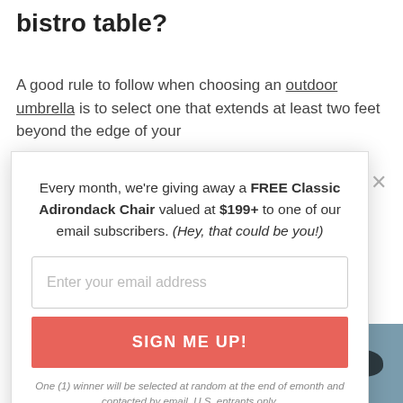What size umbrella do I need for a bistro table?
A good rule to follow when choosing an outdoor umbrella is to select one that extends at least two feet beyond the edge of your
[Figure (screenshot): Email subscription modal popup with close button, promotional text, email input field, SIGN ME UP! button, and disclaimer text]
Every month, we're giving away a FREE Classic Adirondack Chair valued at $199+ to one of our email subscribers. (Hey, that could be you!)
Enter your email address
SIGN ME UP!
One (1) winner will be selected at random at the end of each month and contacted by email. U.S. entrants only.